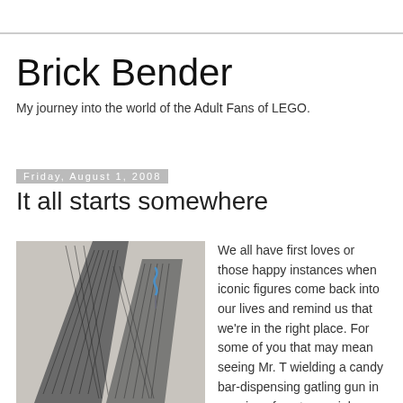Brick Bender
My journey into the world of the Adult Fans of LEGO.
Friday, August 1, 2008
It all starts somewhere
[Figure (photo): Looking up at two tall skyscraper buildings with dark patterned facades against a light grey sky, with a small blue decorative element near the top]
We all have first loves or those happy instances when iconic figures come back into our lives and remind us that we're in the right place. For some of you that may mean seeing Mr. T wielding a candy bar-dispensing gatling gun in a series of controversial